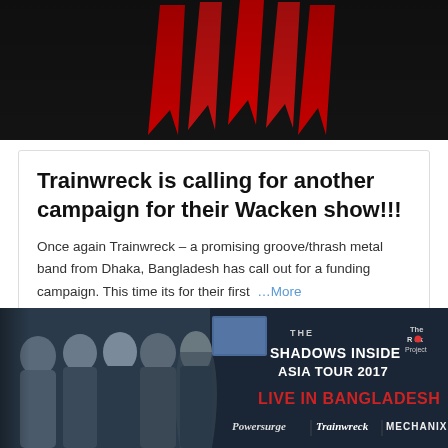[Figure (photo): Dark background banner image with red spike/lightning bolt graphic elements on black background — band logo area]
Trainwreck is calling for another campaign for their Wacken show!!!
Once again Trainwreck – a promising groove/thrash metal band from Dhaka, Bangladesh has call out for a funding campaign. This time its for their first  …More
June 14, 2019   1219   0
[Figure (photo): Concert promotional banner: THE SHADOWS INSIDE ASIA TOUR 2017 - LIVE IN BANGLADESH featuring Powersurge, Trainwreck, Mechanix. Shows band members photos on left side against dark blue background.]